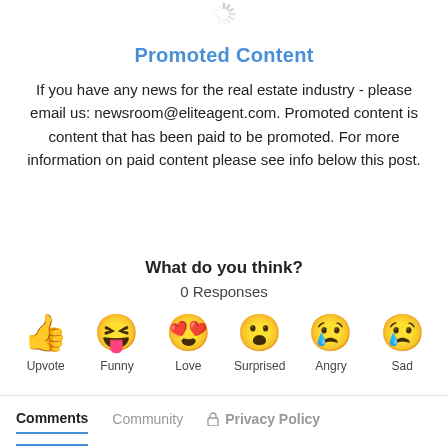[Figure (other): Loading spinner icon at top center]
Promoted Content
If you have any news for the real estate industry - please email us: newsroom@eliteagent.com. Promoted content is content that has been paid to be promoted. For more information on paid content please see info below this post.
What do you think?
0 Responses
[Figure (infographic): Six emoji reaction buttons: Upvote (thumbs up), Funny (laughing face with tongue), Love (heart eyes face), Surprised (open mouth face), Angry (crying face), Sad (sad face with tear). Labels below each emoji.]
Comments   Community   Privacy Policy